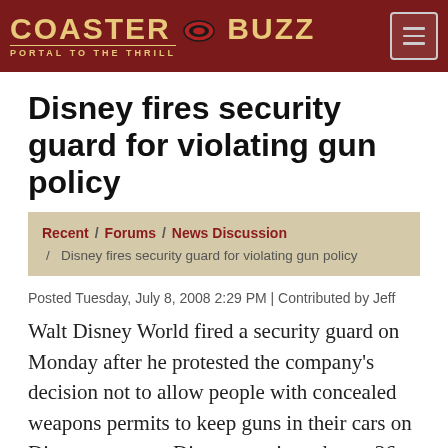CoasterBuzz — PORTAL TO THE THRILL
Disney fires security guard for violating gun policy
Recent / Forums / News Discussion / Disney fires security guard for violating gun policy
Posted Tuesday, July 8, 2008 2:29 PM | Contributed by Jeff
Walt Disney World fired a security guard on Monday after he protested the company's decision not to allow people with concealed weapons permits to keep guns in their cars on Disney property. Disney terminated ___, 36, of